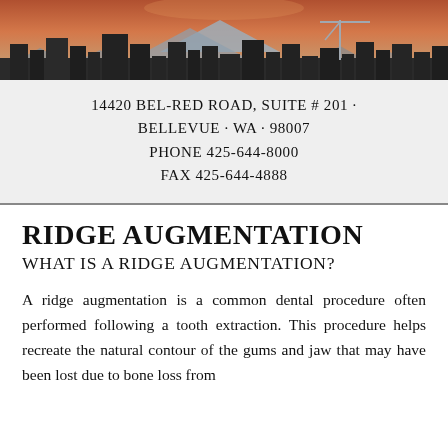[Figure (photo): City skyline photo (Seattle) with mountains in background at dusk/sunset, buildings silhouetted against orange-purple sky with a construction crane visible.]
14420 BEL-RED ROAD, SUITE # 201 · BELLEVUE · WA · 98007 PHONE 425-644-8000 FAX 425-644-4888
RIDGE AUGMENTATION
WHAT IS A RIDGE AUGMENTATION?
A ridge augmentation is a common dental procedure often performed following a tooth extraction. This procedure helps recreate the natural contour of the gums and jaw that may have been lost due to bone loss from...